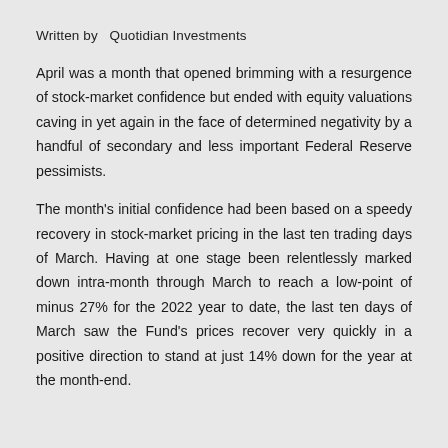Written by  Quotidian Investments
April was a month that opened brimming with a resurgence of stock-market confidence but ended with equity valuations caving in yet again in the face of determined negativity by a handful of secondary and less important Federal Reserve pessimists.
The month's initial confidence had been based on a speedy recovery in stock-market pricing in the last ten trading days of March. Having at one stage been relentlessly marked down intra-month through March to reach a low-point of minus 27% for the 2022 year to date, the last ten days of March saw the Fund's prices recover very quickly in a positive direction to stand at just 14% down for the year at the month-end.